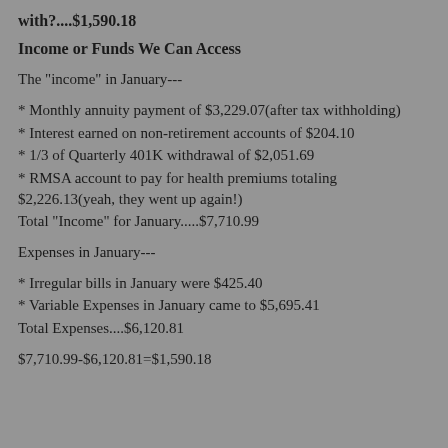with?....$1,590.18
Income or Funds We Can Access
The "income" in January---
* Monthly annuity payment of $3,229.07(after tax withholding)
* Interest earned on non-retirement accounts of $204.10
* 1/3 of Quarterly 401K withdrawal of $2,051.69
* RMSA account to pay for health premiums totaling $2,226.13(yeah, they went up again!)
Total "Income" for January.....$7,710.99
Expenses in January---
* Irregular bills in January were $425.40
* Variable Expenses in January came to $5,695.41
Total Expenses....$6,120.81
$7,710.99-$6,120.81=$1,590.18